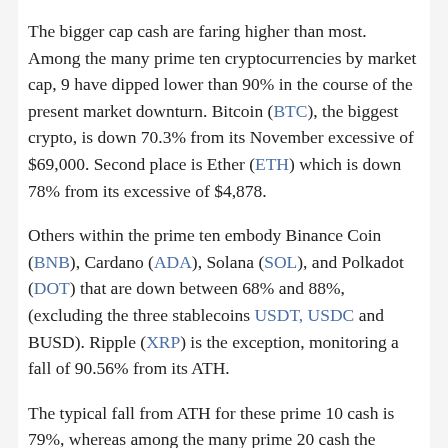The bigger cap cash are faring higher than most. Among the many prime ten cryptocurrencies by market cap, 9 have dipped lower than 90% in the course of the present market downturn. Bitcoin (BTC), the biggest crypto, is down 70.3% from its November excessive of $69,000. Second place is Ether (ETH) which is down 78% from its excessive of $4,878.
Others within the prime ten embody Binance Coin (BNB), Cardano (ADA), Solana (SOL), and Polkadot (DOT) that are down between 68% and 88%, (excluding the three stablecoins USDT, USDC and BUSD). Ripple (XRP) is the exception, monitoring a fall of 90.56% from its ATH.
The typical fall from ATH for these prime 10 cash is 79%, whereas among the many prime 20 cash the average fall from the all-time high is 81.1%.